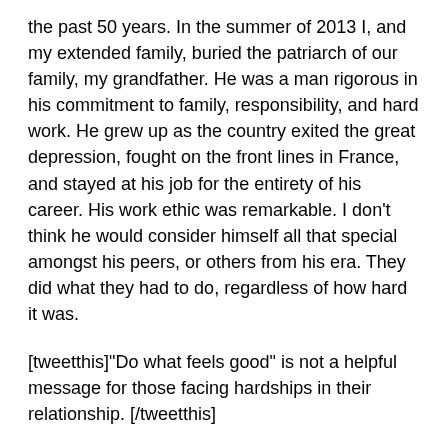the past 50 years. In the summer of 2013 I, and my extended family, buried the patriarch of our family, my grandfather. He was a man rigorous in his commitment to family, responsibility, and hard work. He grew up as the country exited the great depression, fought on the front lines in France, and stayed at his job for the entirety of his career. His work ethic was remarkable. I don't think he would consider himself all that special amongst his peers, or others from his era. They did what they had to do, regardless of how hard it was.
[tweetthis]"Do what feels good" is not a helpful message for those facing hardships in their relationship. [/tweetthis]
The society he helped create said divorce was bad because (the following are my words), there was a cultural understanding that marriage was hard work, just